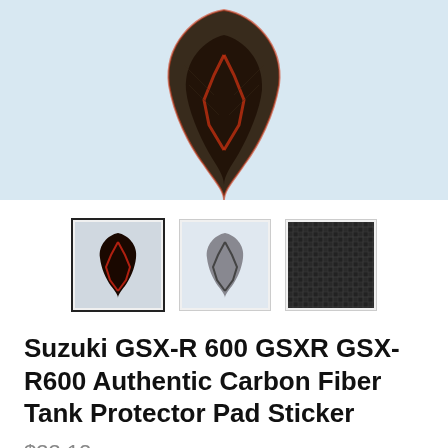[Figure (photo): Product photo showing a carbon fiber motorcycle tank protector pad sticker against a light blue background]
[Figure (photo): Three thumbnail images of the product: first shows red/brown carbon fiber pad (selected, with border), second shows silver/chrome version, third shows close-up of carbon fiber texture]
Suzuki GSX-R 600 GSXR GSX-R600 Authentic Carbon Fiber Tank Protector Pad Sticker
$33.12
Shipping calculated at checkout.